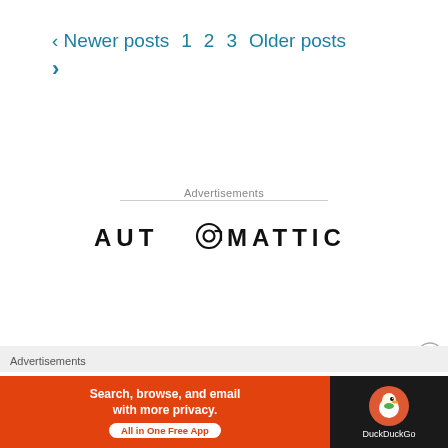< Newer posts  1  2  3  Older posts  >
Advertisements
[Figure (logo): Automattic logo with stylized @ symbol in the middle of the word AUTOMATTIC]
Build a
better web
Advertisements
[Figure (infographic): DuckDuckGo advertisement banner: orange background with text 'Search, browse, and email with more privacy. All in One Free App' and DuckDuckGo logo on dark background on the right side]